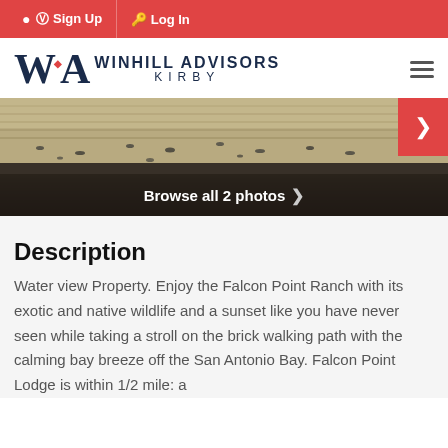Sign Up  Log In
[Figure (logo): Winhill Advisors Kirby logo with WA monogram and hamburger menu icon]
[Figure (photo): Water view property photo showing shorebirds on a tidal flat with a red arrow navigation button, and a dark overlay bar reading 'Browse all 2 photos']
Description
Water view Property. Enjoy the Falcon Point Ranch with its exotic and native wildlife and a sunset like you have never seen while taking a stroll on the brick walking path with the calming bay breeze off the San Antonio Bay. Falcon Point Lodge is within 1/2 mile: a